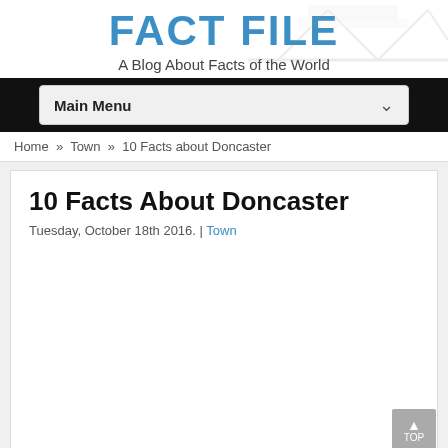FACT FILE
A Blog About Facts of the World
Main Menu
Home » Town » 10 Facts about Doncaster
10 Facts About Doncaster
Tuesday, October 18th 2016. | Town